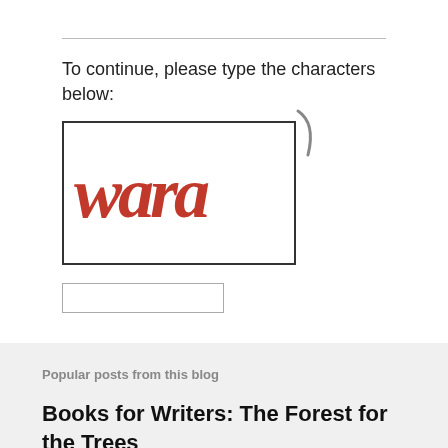To continue, please type the characters below:
[Figure (other): CAPTCHA image showing handwritten-style red cursive text reading 'wara' with a gray curved flourish above, inside a bordered box]
Popular posts from this blog
Books for Writers: The Forest for the Trees
September 15, 2016